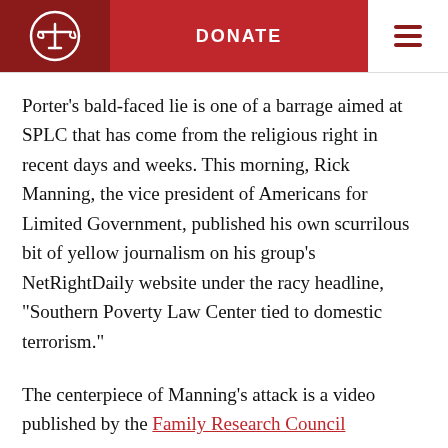DONATE
Porter’s bald-faced lie is one of a barrage aimed at SPLC that has come from the religious right in recent days and weeks. This morning, Rick Manning, the vice president of Americans for Limited Government, published his own scurrilous bit of yellow journalism on his group’s NetRightDaily website under the racy headline, “Southern Poverty Law Center tied to domestic terrorism.”
The centerpiece of Manning’s attack is a video published by the Family Research Council